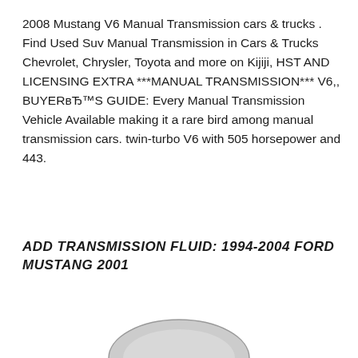2008 Mustang V6 Manual Transmission cars & trucks . Find Used Suv Manual Transmission in Cars & Trucks Chevrolet, Chrysler, Toyota and more on Kijiji, HST AND LICENSING EXTRA ***MANUAL TRANSMISSION*** V6,, BUYERвЂ™S GUIDE: Every Manual Transmission Vehicle Available making it a rare bird among manual transmission cars. twin-turbo V6 with 505 horsepower and 443.
ADD TRANSMISSION FLUID: 1994-2004 FORD MUSTANG 2001
[Figure (photo): Partial image of a car (top portion visible at bottom of page)]